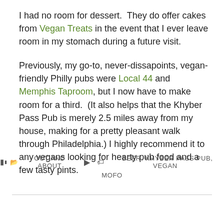I had no room for dessert.  They do offer cakes from Vegan Treats in the event that I ever leave room in my stomach during a future visit.
Previously, my go-to, never-dissapoints, vegan-friendly Philly pubs were Local 44 and Memphis Taproom, but I now have to make room for a third.  (It also helps that the Khyber Pass Pub is merely 2.5 miles away from my house, making for a pretty pleasant walk through Philadelphia.) I highly recommend it to any vegans looking for hearty pub food and a few tasty pints.
OUT AND ABOUT   BEER, KHYBER PASS PUB, VEGAN MOFO